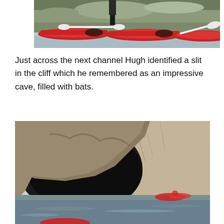[Figure (photo): Red sea kayaks on a rocky shore with a person standing among them, viewed from above]
Just across the next channel Hugh identified a slit in the cliff which he remembered as an impressive cave, filled with bats.
[Figure (photo): A sea cave in rocky cliffs with water in the foreground, kayakers visible entering the cave opening]